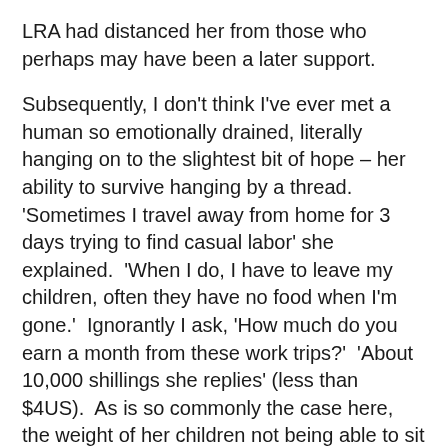LRA had distanced her from those who perhaps may have been a later support.
Subsequently, I don't think I've ever met a human so emotionally drained, literally hanging on to the slightest bit of hope – her ability to survive hanging by a thread.  'Sometimes I travel away from home for 3 days trying to find casual labor' she explained.  'When I do, I have to leave my children, often they have no food when I'm gone.'  Ignorantly I ask, 'How much do you earn a month from these work trips?'  'About 10,000 shillings she replies' (less than $4US).  As is so commonly the case here, the weight of her children not being able to sit their school exams also weighs heavily on her shoulders.  She weeps before us, though courageously trying to hold a world of total torment beneath her eyes.  I'm